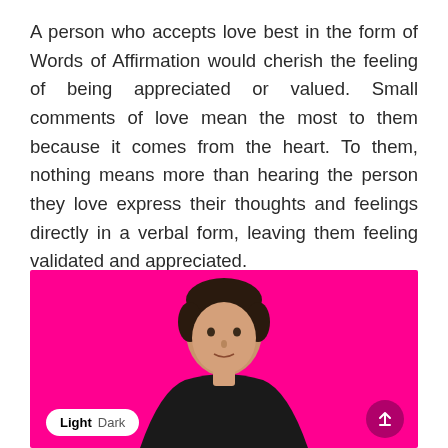A person who accepts love best in the form of Words of Affirmation would cherish the feeling of being appreciated or valued. Small comments of love mean the most to them because it comes from the heart. To them, nothing means more than hearing the person they love express their thoughts and feelings directly in a verbal form, leaving them feeling validated and appreciated.
[Figure (photo): A man with dark hair wearing a black shirt, photographed against a bright pink/magenta background. The image is cropped showing from shoulders up to top of head. Below the image is a Light/Dark toggle UI element and a circular scroll-to-top button.]